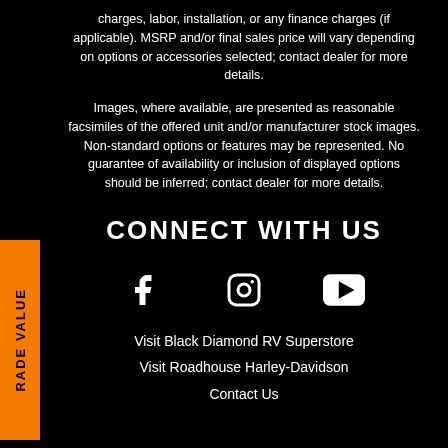charges, labor, installation, or any finance charges (if applicable). MSRP and/or final sales price will vary depending on options or accessories selected; contact dealer for more details.
Images, where available, are presented as reasonable facsimiles of the offered unit and/or manufacturer stock images. Non-standard options or features may be represented. No guarantee of availability or inclusion of displayed options should be inferred; contact dealer for more details.
CONNECT WITH US
[Figure (illustration): Three social media icons: Facebook, Instagram, YouTube]
Visit Black Diamond RV Superstore
Visit Roadhouse Harley-Davidson
Contact Us